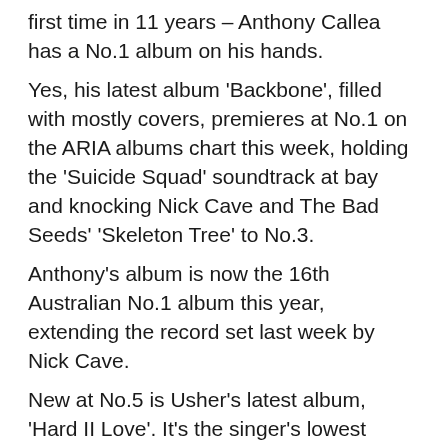first time in 11 years – Anthony Callea has a No.1 album on his hands.
Yes, his latest album 'Backbone', filled with mostly covers, premieres at No.1 on the ARIA albums chart this week, holding the 'Suicide Squad' soundtrack at bay and knocking Nick Cave and The Bad Seeds' 'Skeleton Tree' to No.3.
Anthony's album is now the 16th Australian No.1 album this year, extending the record set last week by Nick Cave.
New at No.5 is Usher's latest album, 'Hard II Love'. It's the singer's lowest album debut in 15 years, but is his sixth consecutive top ten studio album.
The 'Bridget Jones's Baby' soundtrack is new at No.7 and we've got debuts at Nos.9 and 10 from Die Antwoord's 'Mount Ninja And Da Nice Time' (their first Aussie top ten album) and Remi's